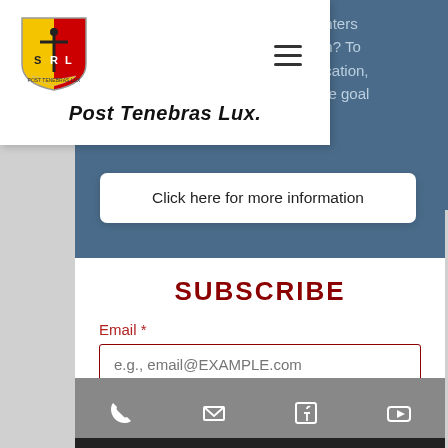[Figure (screenshot): School website screenshot showing navigation dropdown with shield logo (SRL crest), hamburger menu icon, and italic bold tagline 'Post Tenebras Lux.' on white panel. To the right is a blue ocean background with partial text 'enters', 'on? To', 'ucation,', 'ate goal'. Below is a 'Click here for more information' white button. Subscribe section with dark red bold 'SUBSCRIBE' heading, email label and input field, Submit button. Footer gray bar with phone, email, Facebook, and YouTube icons.]